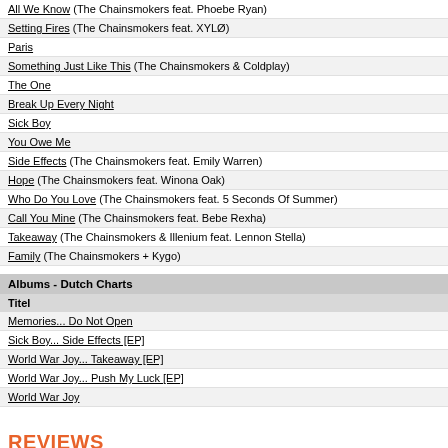All We Know (The Chainsmokers feat. Phoebe Ryan)
Setting Fires (The Chainsmokers feat. XYLØ)
Paris
Something Just Like This (The Chainsmokers & Coldplay)
The One
Break Up Every Night
Sick Boy
You Owe Me
Side Effects (The Chainsmokers feat. Emily Warren)
Hope (The Chainsmokers feat. Winona Oak)
Who Do You Love (The Chainsmokers feat. 5 Seconds Of Summer)
Call You Mine (The Chainsmokers feat. Bebe Rexha)
Takeaway (The Chainsmokers & Illenium feat. Lennon Stella)
Family (The Chainsmokers + Kygo)
Albums - Dutch Charts
Titel
Memories... Do Not Open
Sick Boy... Side Effects [EP]
World War Joy... Takeaway [EP]
World War Joy... Push My Luck [EP]
World War Joy
REVIEWS
Puntengemiddelde: 4 (Reviews: 1)